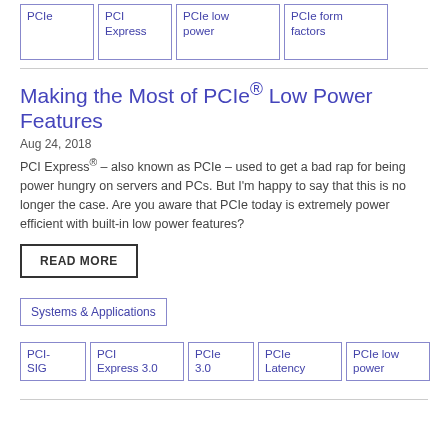PCIe
PCI Express
PCIe low power
PCIe form factors
Making the Most of PCIe® Low Power Features
Aug 24, 2018
PCI Express® – also known as PCIe – used to get a bad rap for being power hungry on servers and PCs. But I'm happy to say that this is no longer the case. Are you aware that PCIe today is extremely power efficient with built-in low power features?
READ MORE
Systems & Applications
PCI-SIG
PCI Express 3.0
PCIe 3.0
PCIe Latency
PCIe low power